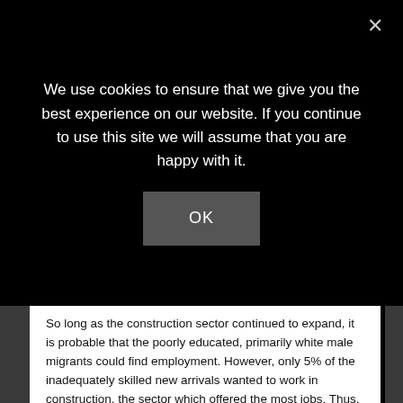We use cookies to ensure that we give you the best experience on our website. If you continue to use this site we will assume that you are happy with it.
OK
So long as the construction sector continued to expand, it is probable that the poorly educated, primarily white male migrants could find employment. However, only 5% of the inadequately skilled new arrivals wanted to work in construction, the sector which offered the most jobs. Thus, those moving to Havana in search of work were the least prepared or willing to take advantage of the opportunities of the labor market.
As an aside, Havana had three fourths of all Cuba's construction jobs. The capital employed 20% of the country's active population: 41.9% of those employed worked in the